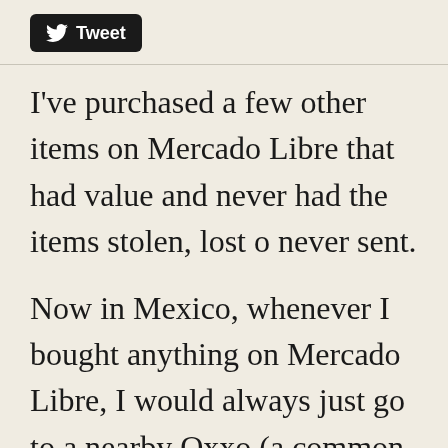[Figure (other): Twitter/Tweet button with bird logo and 'Tweet' text on black rounded rectangle background]
I've purchased a few other items on Mercado Libre that had value and never had the items stolen, lost o never sent.
Now in Mexico, whenever I bought anything on Mercado Libre, I would always just go to a nearby Oxxo (a common store down here) and just send money to someone's bank account